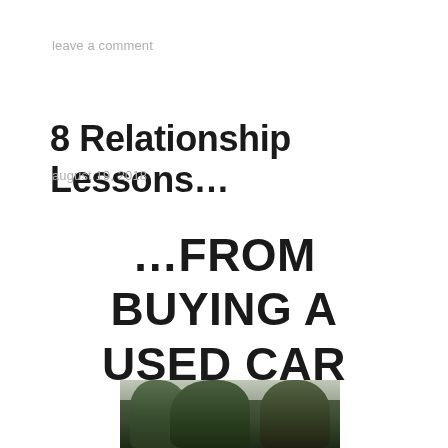leave a comment
8 Relationship Lessons…
august 19, 2018
…FROM BUYING A USED CAR (CALLED GORDON!)
[Figure (photo): A dark, slightly out-of-focus photograph of trees with dense foliage, taken from below looking up, with a pale overcast sky visible through the branches.]